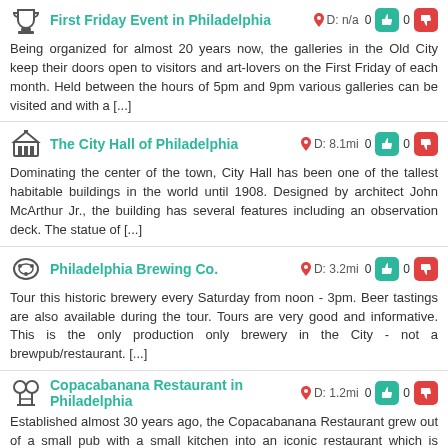First Friday Event in Philadelphia — D: n/a 0 0 — Being organized for almost 20 years now, the galleries in the Old City keep their doors open to visitors and art-lovers on the First Friday of each month. Held between the hours of 5pm and 9pm various galleries can be visited and with a [...]
The City Hall of Philadelphia — D: 8.1mi 0 0 — Dominating the center of the town, City Hall has been one of the tallest habitable buildings in the world until 1908. Designed by architect John McArthur Jr., the building has several features including an observation deck. The statue of [...]
Philadelphia Brewing Co. — D: 3.2mi 0 0 — Tour this historic brewery every Saturday from noon - 3pm. Beer tastings are also available during the tour. Tours are very good and informative. This is the only production only brewery in the City - not a brewpub/restaurant. [...]
Copacabanana Restaurant in Philadelphia — D: 1.2mi 0 0 — Established almost 30 years ago, the Copacabanana Restaurant grew out of a small pub with a small kitchen into an iconic restaurant which is famous for its fresh lime Margaritas and gourmet burgers. The staff in the pub is friendly and fun, [...]
The Independence Hall of Pennsylvania — D: 1.2mi 0 0 — A historical landmark, the Independence Hall is a building to see. It has been an important location for US citizens, being the place where the Declaration of Independence has been signed and where the Constitution of the United